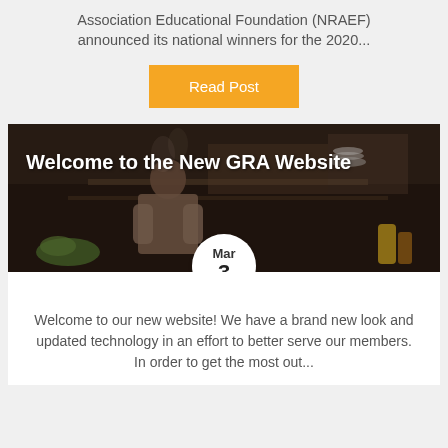Association Educational Foundation (NRAEF) announced its national winners for the 2020...
Read Post
[Figure (photo): Dark restaurant kitchen background with a chef in the background. White text overlay reads 'Welcome to the New GRA Website'. A date badge showing 'Mar 3' overlays the bottom center.]
Welcome to the New GRA Website
Mar 3
Welcome to our new website! We have a brand new look and updated technology in an effort to better serve our members. In order to get the most out...